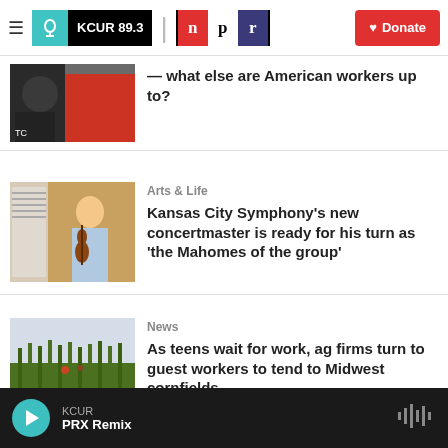[Figure (screenshot): KCUR 89.3 and NPR navigation bar with hamburger menu, logos, and red Donate button]
[Figure (photo): People at what appears to be a press conference or protest, person in red hoodie visible]
— what else are American workers up to?
[Figure (photo): Young Asian man holding a violin, standing in front of a wooden wall]
Arts & Life
Kansas City Symphony's new concertmaster is ready for his turn as 'the Mahomes of the group'
[Figure (photo): Agricultural field with corn plants, workers visible in the distance]
News
As teens wait for work, ag firms turn to guest workers to tend to Midwest cornfields
KCUR PRX Remix